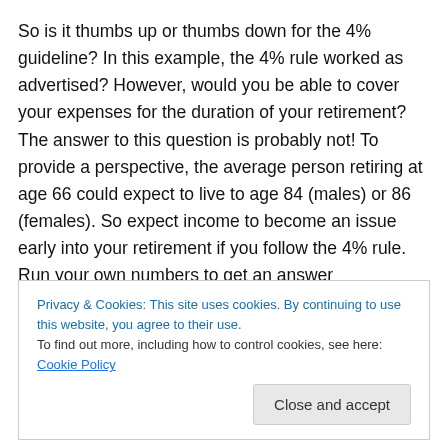So is it thumbs up or thumbs down for the 4% guideline? In this example, the 4% rule worked as advertised? However, would you be able to cover your expenses for the duration of your retirement? The answer to this question is probably not! To provide a perspective, the average person retiring at age 66 could expect to live to age 84 (males) or 86 (females). So expect income to become an issue early into your retirement if you follow the 4% rule. Run your own numbers to get an answer
Privacy & Cookies: This site uses cookies. By continuing to use this website, you agree to their use.
To find out more, including how to control cookies, see here: Cookie Policy
that you need answered. What you are really asking is